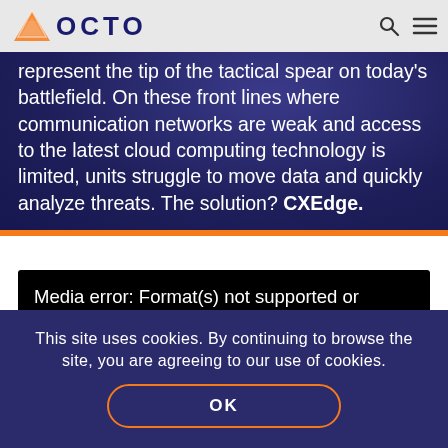[Figure (screenshot): Navigation bar with OCTO logo (orange/white geometric icon and OCTO text), search icon, and hamburger menu icon on a light grey background]
represent the tip of the tactical spear on today's battlefield. On these front lines where communication networks are weak and access to the latest cloud computing technology is limited, units struggle to move data and quickly analyze threats. The solution? CXEdge.
Media error: Format(s) not supported or source(s) not found
This site uses cookies. By continuing to browse the site, you are agreeing to our use of cookies.
OK